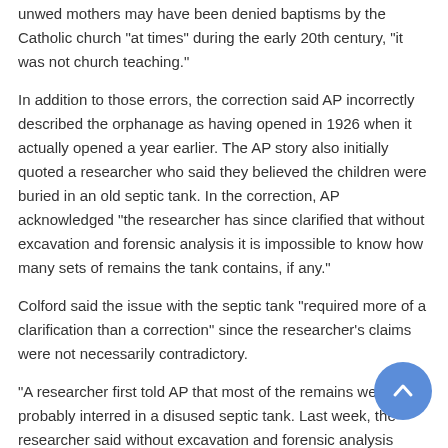unwed mothers may have been denied baptisms by the Catholic church "at times" during the early 20th century, "it was not church teaching."
In addition to those errors, the correction said AP incorrectly described the orphanage as having opened in 1926 when it actually opened a year earlier. The AP story also initially quoted a researcher who said they believed the children were buried in an old septic tank. In the correction, AP acknowledged "the researcher has since clarified that without excavation and forensic analysis it is impossible to know how many sets of remains the tank contains, if any."
Colford said the issue with the septic tank "required more of a clarification than a correction" since the researcher's claims were not necessarily contradictory.
"A researcher first told AP that most of the remains were probably interred in a disused septic tank. Last week, the researcher said without excavation and forensic analysis there is no way of confirming that," Colford explained. "The two statements are not contradictory, as she was expressing an opinion about what was likely true. She is now stressing that she cannot say so with certainty."